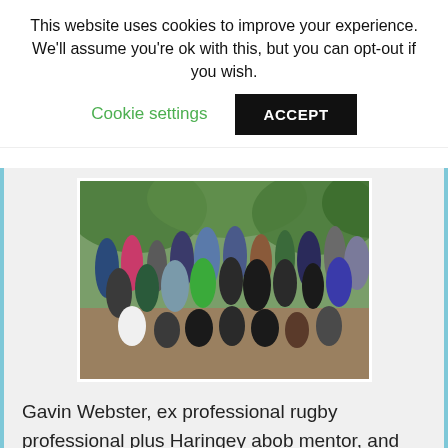This website uses cookies to improve your experience. We'll assume you're ok with this, but you can opt-out if you wish.
Cookie settings
ACCEPT
[Figure (photo): Group photo of approximately 25-30 men posing outdoors in a park or garden setting with trees in the background. People are arranged in multiple rows, some sitting and some standing.]
Gavin Webster, ex professional rugby professional plus Haringey abob mentor, and mentee Dean O'Brien tell us about the value of